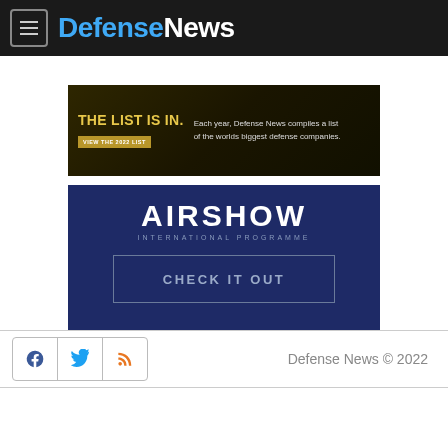DefenseNews
[Figure (infographic): THE LIST IS IN. advertisement banner — Each year, Defense News compiles a list of the worlds biggest defense companies. VIEW THE 2022 LIST button.]
[Figure (infographic): AIRSHOW advertisement banner with CHECK IT OUT button on dark blue background.]
Defense News © 2022